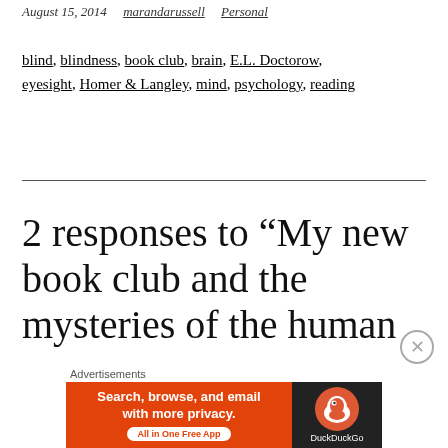August 15, 2014   marandarussell   Personal
blind, blindness, book club, brain, E.L. Doctorow, eyesight, Homer & Langley, mind, psychology, reading
2 responses to “My new book club and the mysteries of the human
[Figure (screenshot): DuckDuckGo advertisement banner: orange left panel with text 'Search, browse, and email with more privacy. All in One Free App' and dark right panel with DuckDuckGo duck logo and name.]